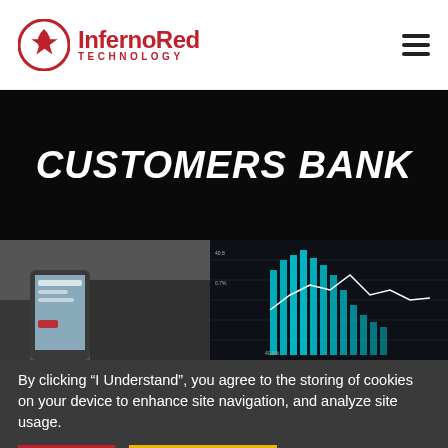InfernoRed TECHNOLOGY
CUSTOMERS BANK
[Figure (photo): Left: hand holding a tablet/phone showing a website. Right: dark financial chart with cyan bars and a white line graph.]
By clicking “I Understand”, you agree to the storing of cookies on your device to enhance site navigation, and analyze site usage.
Decline
I Understand